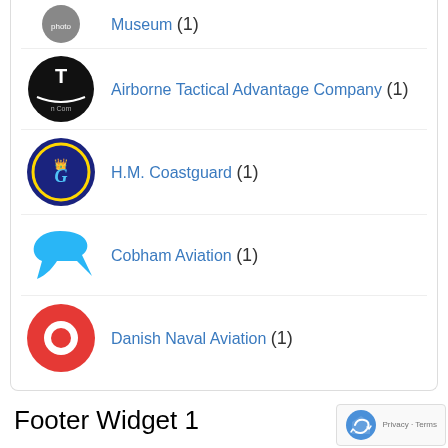Museum (1)
Airborne Tactical Advantage Company (1)
H.M. Coastguard (1)
Cobham Aviation (1)
Danish Naval Aviation (1)
Footer Widget 1
Replace this widget content by going to Appearance / Widgets and dragging widgets into this widget area.